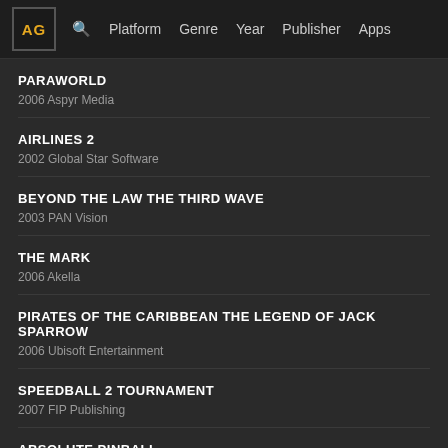AG | Platform Genre Year Publisher Apps
PARAWORLD
2006 Aspyr Media
AIRLINES 2
2002 Global Star Software
BEYOND THE LAW THE THIRD WAVE
2003 PAN Vision
THE MARK
2006 Akella
PIRATES OF THE CARIBBEAN THE LEGEND OF JACK SPARROW
2006 Ubisoft Entertainment
SPEEDBALL 2 TOURNAMENT
2007 FIP Publishing
ABSOLUTE PINBALL
1996 21st Century Entertainment